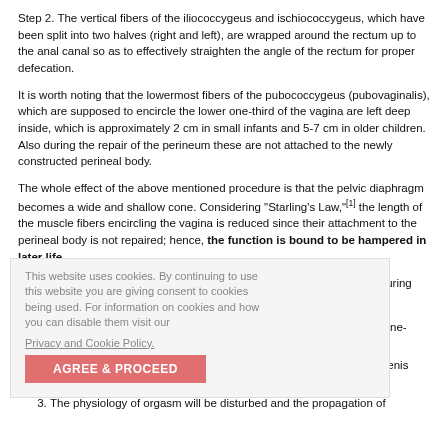Step 2. The vertical fibers of the iliococcygeus and ischiococcygeus, which have been split into two halves (right and left), are wrapped around the rectum up to the anal canal so as to effectively straighten the angle of the rectum for proper defecation.
It is worth noting that the lowermost fibers of the pubococcygeus (pubovaginalis), which are supposed to encircle the lower one-third of the vagina are left deep inside, which is approximately 2 cm in small infants and 5-7 cm in older children. Also during the repair of the perineum these are not attached to the newly constructed perineal body.
The whole effect of the above mentioned procedure is that the pelvic diaphragm becomes a wide and shallow cone. Considering "Starling's Law," [1] the length of the muscle fibers encircling the vagina is reduced since their attachment to the perineal body is not repaired; hence, the function is bound to be hampered in later life.
What are the problems that we can anticipate for these girls in later life during adulthood?
The vagina does not have pelvic muscles for support in the lower one-third.
These females will not be able to exert a squeezing effect on the penis during coitus.
The physiology of orgasm will be disturbed and the propagation of